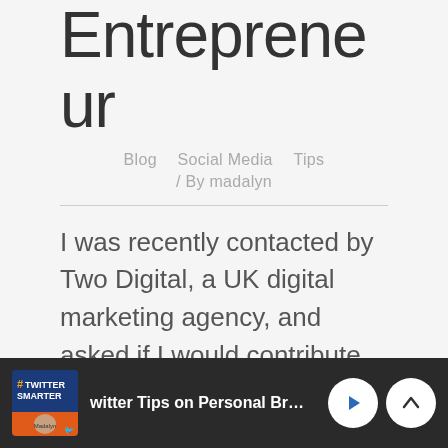Entrepreneur
Blog  Social Media  Tips  / By madalyn
I was recently contacted by Two Digital, a UK digital marketing agency, and asked if I would contribute to a blog post about how I got started in business and became successful. This is a favorite topic
[Figure (screenshot): Podcast bar at bottom with #TwitterSmarter thumbnail, text 'witter Tips on Personal Branding an', play button and up arrow button on dark background]